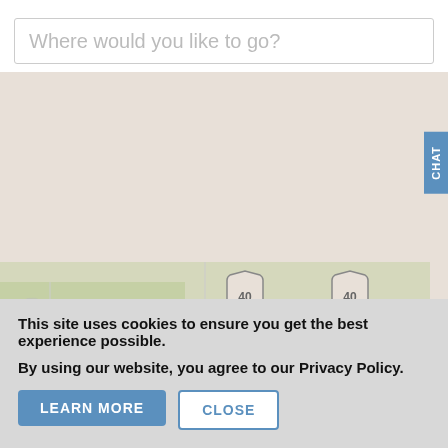Where would you like to go?
[Figure (map): A map showing Grand Junction, Colorado area with highway 40 markers and a red location pin placed east of Grand Junction. The map has a beige/tan background with green terrain areas and a partial view showing roads and geographic features.]
CHAT
This site uses cookies to ensure you get the best experience possible.
By using our website, you agree to our Privacy Policy.
LEARN MORE
CLOSE